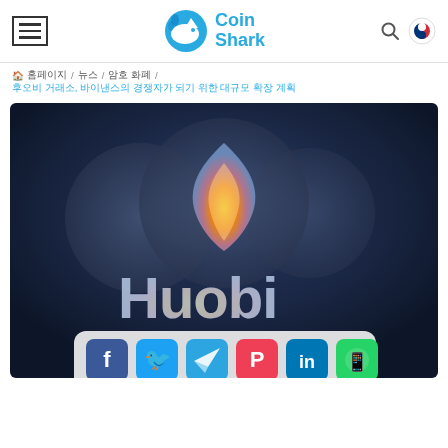Coin Shark - header with menu, logo, search, and language selector
홈페이지 / 뉴스 / 암호 화폐 / 후오비 거래소, 바이낸스의 경쟁자가 되기 위한 대규모 확장 계획
[Figure (photo): Huobi exchange 3D metallic logo on dark blue background with social sharing buttons (Facebook, Twitter, Telegram, Pocket, LinkedIn, WhatsApp) at the bottom]